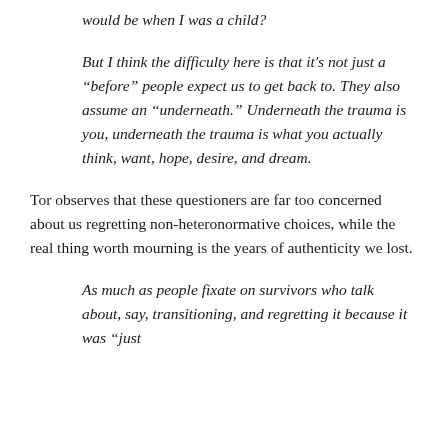would be when I was a child?
But I think the difficulty here is that it's not just a “before” people expect us to get back to. They also assume an “underneath.” Underneath the trauma is you, underneath the trauma is what you actually think, want, hope, desire, and dream.
Tor observes that these questioners are far too concerned about us regretting non-heteronormative choices, while the real thing worth mourning is the years of authenticity we lost.
As much as people fixate on survivors who talk about, say, transitioning, and regretting it because it was “just